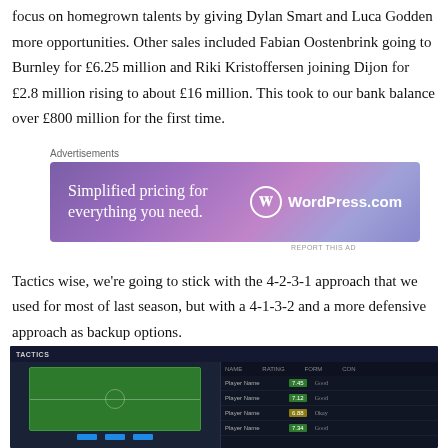focus on homegrown talents by giving Dylan Smart and Luca Godden more opportunities. Other sales included Fabian Oostenbrink going to Burnley for £6.25 million and Riki Kristoffersen joining Dijon for £2.8 million rising to about £16 million. This took to our bank balance over £800 million for the first time.
Advertisements
[Figure (screenshot): WordPress.com advertisement banner: 'Simplified pricing for everything you need.' with WordPress.com logo]
REPORT THIS AD
Tactics wise, we're going to stick with the 4-2-3-1 approach that we used for most of last season, but with a 4-1-3-2 and a more defensive approach as backup options.
[Figure (screenshot): Screenshot of a football management tactics screen showing a football pitch formation view on the left and player statistics on the right]